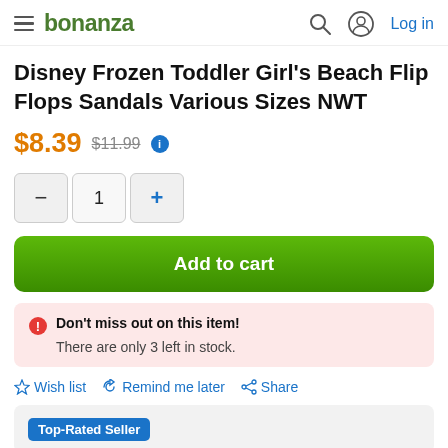bonanza  Log in
Disney Frozen Toddler Girl's Beach Flip Flops Sandals Various Sizes NWT
$8.39  $11.99
[Figure (other): Quantity selector with minus button, quantity 1, and plus button]
Add to cart
Don't miss out on this item! There are only 3 left in stock.
Wish list  Remind me later  Share
Top-Rated Seller